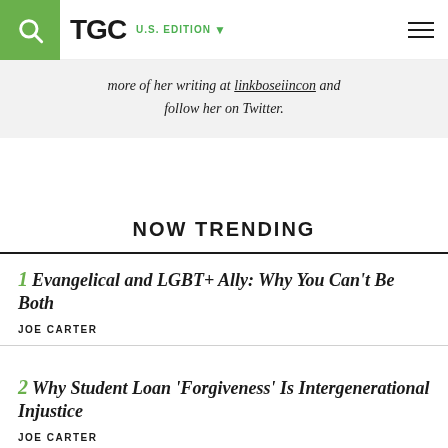TGC | U.S. EDITION
more of her writing at linkboseiincon and follow her on Twitter.
NOW TRENDING
1 Evangelical and LGBT+ Ally: Why You Can't Be Both — JOE CARTER
2 Why Student Loan 'Forgiveness' Is Intergenerational Injustice — JOE CARTER